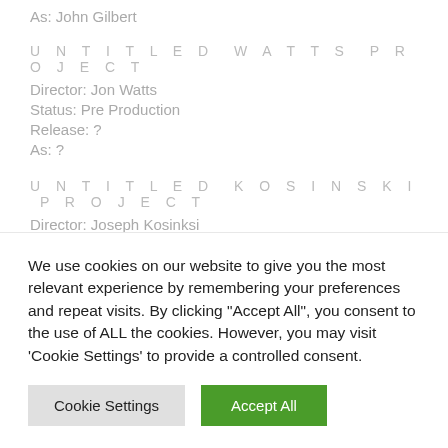As: John Gilbert
UNTITLED WATTS PROJECT
Director: Jon Watts
Status: Pre Production
Release: ?
As: ?
UNTITLED KOSINSKI PROJECT
Director: Joseph Kosinksi
Status: Announced
Release: ?
We use cookies on our website to give you the most relevant experience by remembering your preferences and repeat visits. By clicking "Accept All", you consent to the use of ALL the cookies. However, you may visit 'Cookie Settings' to provide a controlled consent.